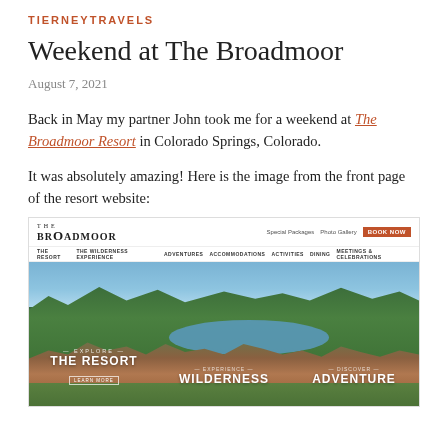TIERNEYTRAVELS
Weekend at The Broadmoor
August 7, 2021
Back in May my partner John took me for a weekend at The Broadmoor Resort in Colorado Springs, Colorado.
It was absolutely amazing! Here is the image from the front page of the resort website:
[Figure (screenshot): Screenshot of The Broadmoor resort website showing navigation bar with logo, nav links (THE RESORT, THE WILDERNESS EXPERIENCE, ADVENTURES, ACCOMMODATIONS, ACTIVITIES, DINING, MEETINGS & CELEBRATIONS), Special Packages and Photo Gallery links, a BOOK NOW button, and a hero image of the resort with aerial view showing buildings, lake, and trees, with overlaid text: EXPLORE THE RESORT, EXPERIENCE WILDERNESS, DISCOVER ADVENTURE]